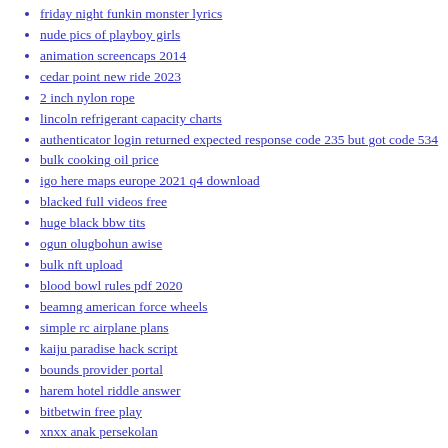friday night funkin monster lyrics
nude pics of playboy girls
animation screencaps 2014
cedar point new ride 2023
2 inch nylon rope
lincoln refrigerant capacity charts
authenticator login returned expected response code 235 but got code 534
bulk cooking oil price
igo here maps europe 2021 q4 download
blacked full videos free
huge black bbw tits
ogun olugbohun awise
bulk nft upload
blood bowl rules pdf 2020
beamng american force wheels
simple rc airplane plans
kaiju paradise hack script
bounds provider portal
harem hotel riddle answer
bitbetwin free play
xnxx anak persekolan
permobil f5 corpus accessories
salwyrr shop